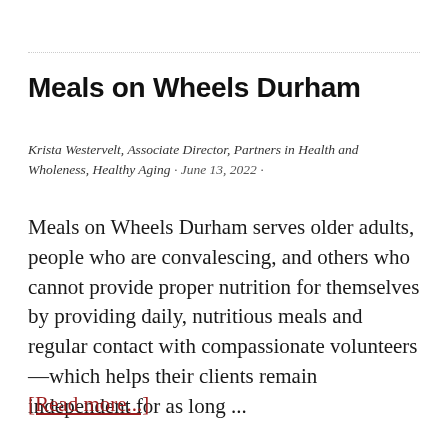Meals on Wheels Durham
Krista Westervelt, Associate Director, Partners in Health and Wholeness, Healthy Aging · June 13, 2022 ·
Meals on Wheels Durham serves older adults, people who are convalescing, and others who cannot provide proper nutrition for themselves by providing daily, nutritious meals and regular contact with compassionate volunteers—which helps their clients remain independent for as long ...
[Read more...]